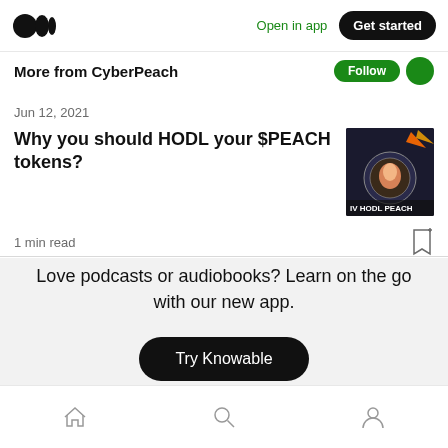Medium logo | Open in app | Get started
More from CyberPeach
Jun 12, 2021
Why you should HODL your $PEACH tokens?
1 min read
Love podcasts or audiobooks? Learn on the go with our new app.
Try Knowable
Home | Search | Profile